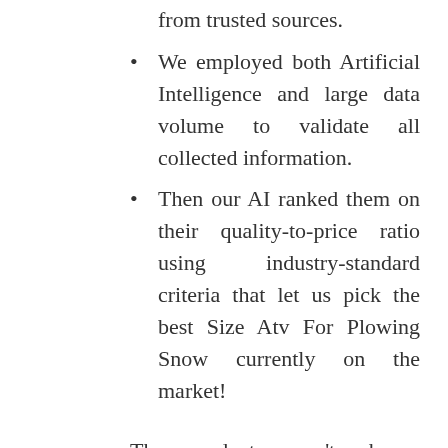from trusted sources.
We employed both Artificial Intelligence and large data volume to validate all collected information.
Then our AI ranked them on their quality-to-price ratio using industry-standard criteria that let us pick the best Size Atv For Plowing Snow currently on the market!
The products aren't chosen randomly. We consider several criteria before assembling a list. Some of the criteria are